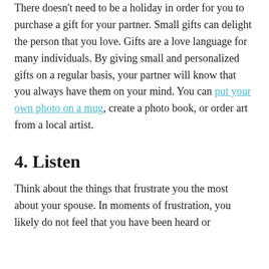There doesn't need to be a holiday in order for you to purchase a gift for your partner. Small gifts can delight the person that you love. Gifts are a love language for many individuals. By giving small and personalized gifts on a regular basis, your partner will know that you always have them on your mind. You can put your own photo on a mug, create a photo book, or order art from a local artist.
4. Listen
Think about the things that frustrate you the most about your spouse. In moments of frustration, you likely do not feel that you have been heard or